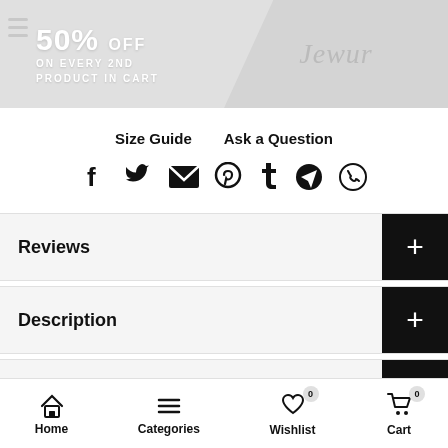[Figure (infographic): Promotional banner showing '50% OFF ON EVERY 2ND PRODUCT IN CART' on a grey background with a brand logo on the right side]
Size Guide   Ask a Question
[Figure (infographic): Social media sharing icons row: Facebook, Twitter, Email, Pinterest, Tumblr, Telegram, WhatsApp]
Reviews
Description
Find Your Size
Home   Categories   Wishlist 0   Cart 0